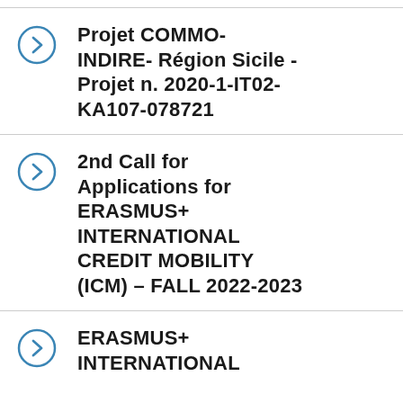Projet COMMO-INDIRE- Région Sicile - Projet n. 2020-1-IT02-KA107-078721
2nd Call for Applications for ERASMUS+ INTERNATIONAL CREDIT MOBILITY (ICM) – FALL 2022-2023
ERASMUS+ INTERNATIONAL